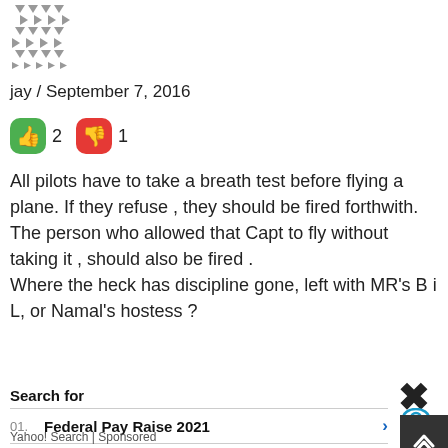[Figure (illustration): Small avatar/profile image with a geometric pattern in grey and white]
jay / September 7, 2016
[Figure (infographic): Green thumbs-up icon with count 2, red thumbs-down icon with count 1]
All pilots have to take a breath test before flying a plane. If they refuse , they should be fired forthwith. The person who allowed that Capt to fly without taking it , should also be fired .
Where the heck has discipline gone, left with MR's B i L, or Namal's hostess ?
Search for
01.  Federal Pay Raise 2021
02.  Cloud Storage Software System
Yahoo! Search | Sponsored